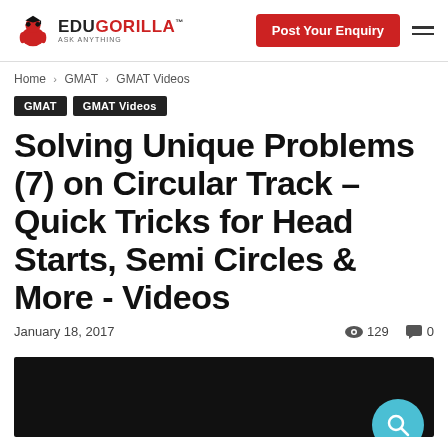EDUGORILLA ASK ANYTHING | Post Your Enquiry
Home › GMAT › GMAT Videos
GMAT
GMAT Videos
Solving Unique Problems (7) on Circular Track – Quick Tricks for Head Starts, Semi Circles & More - Videos
January 18, 2017  👁 129  💬 0
[Figure (screenshot): Black video player area at the bottom of the page with a cyan/teal search icon circle partially visible at bottom right.]